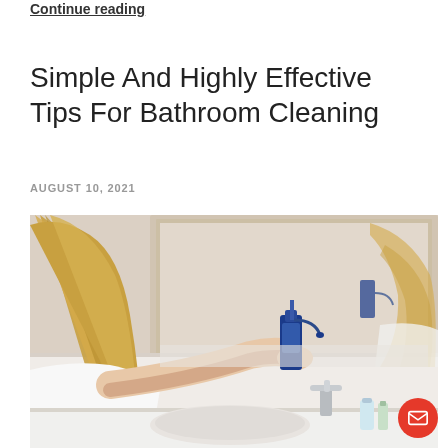Continue reading
Simple And Highly Effective Tips For Bathroom Cleaning
AUGUST 10, 2021
[Figure (photo): Woman with blonde hair cleaning a bathroom mirror with a spray bottle and yellow cloth, with her reflection visible in the mirror. A chrome faucet and toiletry bottles are visible on the bathroom counter.]